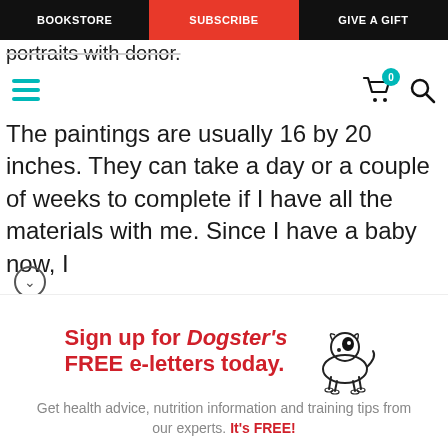BOOKSTORE | SUBSCRIBE | GIVE A GIFT
portraits with donor.
The paintings are usually 16 by 20 inches. They can take a day or a couple of weeks to complete if I have all the materials with me. Since I have a baby now, I
[Figure (infographic): Dogster newsletter signup box with dog illustration, headline 'Sign up for Dogster's FREE e-letters today.', subtext 'Get health advice, nutrition information and training tips from our experts. It's FREE!', email input field, and YES! SIGN ME UP button]